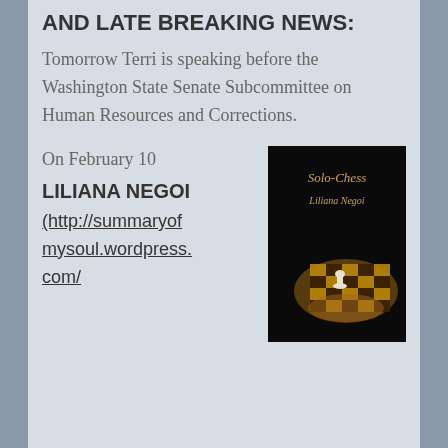AND LATE BREAKING NEWS:
Tomorrow Terri is speaking before the Washington State Senate Subcommittee on Human Resources and Corrections.
On February 10
LILIANA NEGOI
(http://summaryofmysoul.wordpress.com/
[Figure (photo): Book cover of 'Solo-Chess' by Liliana Negoi — dark background with a chess piece on a chessboard illuminated in warm orange light, with the title 'Solo-Chess' and author name 'Liliana Negoi' in stylized text at top.]